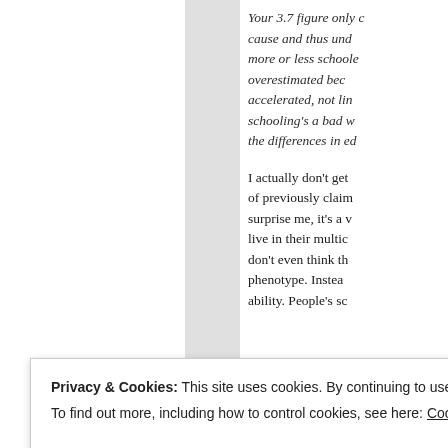Your 3.7 figure only cause and thus und more or less schoole overestimated bec accelerated, not lin schooling's a bad w the differences in ed
I actually don't get of previously claim surprise me, it's a v live in their multic don't even think th phenotype. Instea ability. People's sc
Privacy & Cookies: This site uses cookies. By continuing to use this website, you agree to their use.
To find out more, including how to control cookies, see here: Cookie Policy
Close and accept